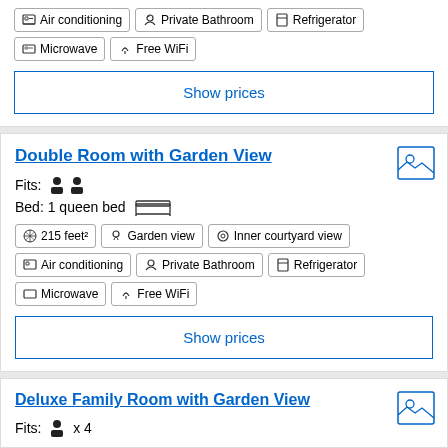Air conditioning | Private Bathroom | Refrigerator | Microwave | Free WiFi
Show prices
Double Room with Garden View
Fits: 2 people
Bed: 1 queen bed
215 feet² | Garden view | Inner courtyard view | Air conditioning | Private Bathroom | Refrigerator | Microwave | Free WiFi
Show prices
Deluxe Family Room with Garden View
Fits: x 4